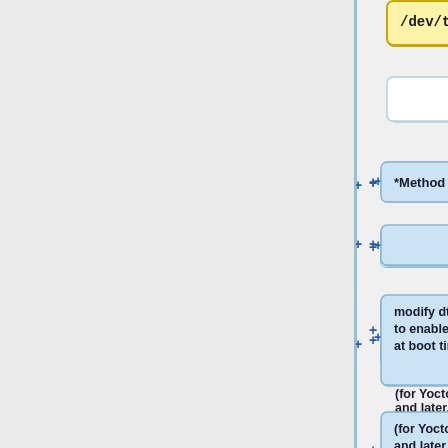[Figure (flowchart): Partial flowchart diagram showing a series of connected nodes. Top node (yellow) labeled '/dev/ttymxc4'. Below are two white blank boxes side by side, then a blue box '*Method 2:', a blank blue box, a blue box 'modify dts file to enable rs-485 at boot time.', a blue box '(for Yocto 2.5 and later, must get the newest bsp)', a blank blue box, a blue box '<syntaxhighlight lang="c">', a blue box '&uart1 {', and a partial blue box 'pinctrl-'. Plus signs ('+') appear on the left of most right-column boxes indicating expandable/collapsible nodes.]